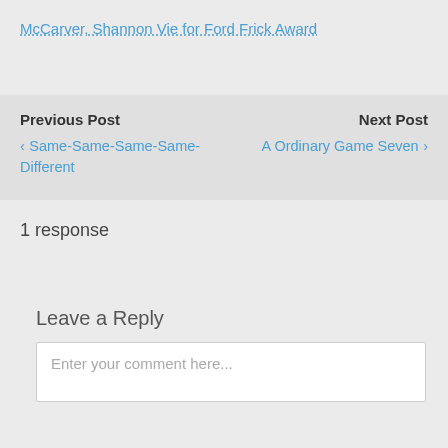McCarver, Shannon Vie for Ford Frick Award
Previous Post
Next Post
❮ Same-Same-Same-Same-Different
A Ordinary Game Seven ❯
1 response
Leave a Reply
Enter your comment here...